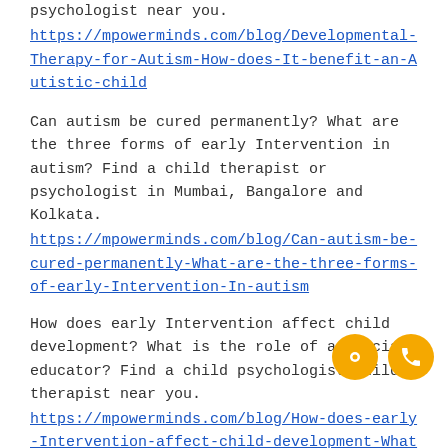psychologist near you.
https://mpowerminds.com/blog/Developmental-Therapy-for-Autism-How-does-It-benefit-an-Autistic-child
Can autism be cured permanently? What are the three forms of early Intervention in autism? Find a child therapist or psychologist in Mumbai, Bangalore and Kolkata.
https://mpowerminds.com/blog/Can-autism-be-cured-permanently-What-are-the-three-forms-of-early-Intervention-In-autism
How does early Intervention affect child development? What is the role of a special educator? Find a child psychologist/child therapist near you.
https://mpowerminds.com/blog/How-does-early-Intervention-affect-child-development-What-Is-the-role-a-special-educator
What constitutes a comprehensive and Integrated child